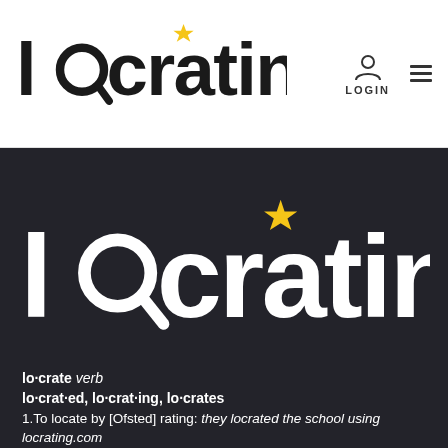[Figure (logo): Locrating logo with magnifying glass replacing the 'o' and a gold star above the 'i', on white background, with LOGIN and hamburger menu icons on the right]
[Figure (logo): Large Locrating logo in white on dark background with gold star above the 'i' and magnifying glass replacing the 'o']
lo·crate verb
lo·crat·ed, lo·crat·ing, lo·crates
1.To locate by [Ofsted] rating: they locrated the school using locrating.com